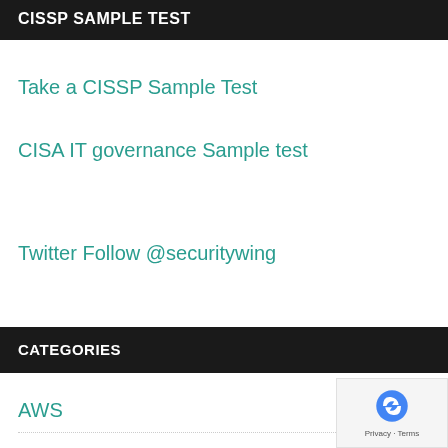CISSP SAMPLE TEST
Take a CISSP Sample Test
CISA IT governance Sample test
Twitter Follow @securitywing
CATEGORIES
AWS